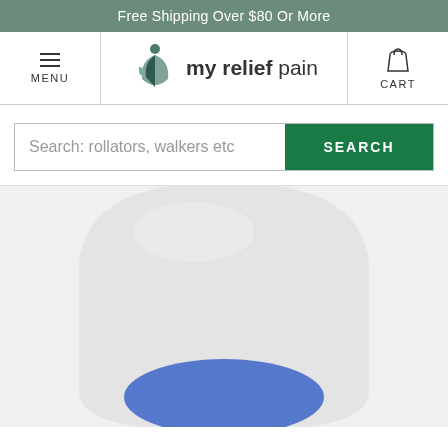Free Shipping Over $80 Or More
[Figure (logo): My Relief Pain logo with stylized figure icon and text 'my relief pain']
MENU
CART
Search: rollators, walkers etc
[Figure (photo): Close-up photo of a white shoe insole/orthotic with a blue oval cushion insert at the heel]